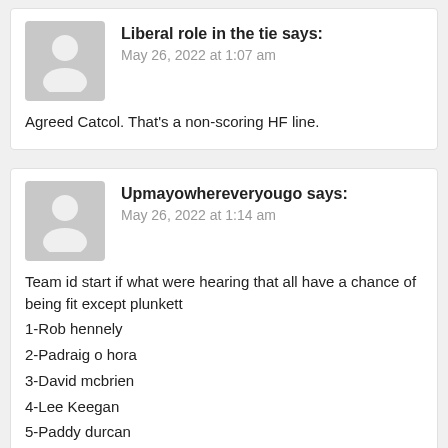Liberal role in the tie says:
May 26, 2022 at 1:07 am
Agreed Catcol. That's a non-scoring HF line.
Upmayowhereveryougo says:
May 26, 2022 at 1:14 am
Team id start if what were hearing that all have a chance of being fit except plunkett
1-Rob hennely
2-Padraig o hora
3-David mcbrien
4-Lee Keegan
5-Paddy durcan
6-Oisin mullin
7-Eoghan mclaughlin
8-Matthew ruane
9-Aidan o shea